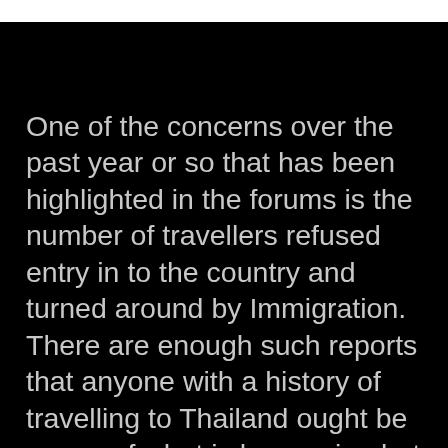One of the concerns over the past year or so that has been highlighted in the forums is the number of travellers refused entry in to the country and turned around by Immigration. There are enough such reports that anyone with a history of travelling to Thailand ought be aware of what is happening but at the same time, don't be too concerned about it happening to you. What the scaremongers often fail to say is that 99.99% of visitors to Thailand have nothing to worry about. Almost all of those who are declined entry at passport control are either visa runners or people who have a recent history of